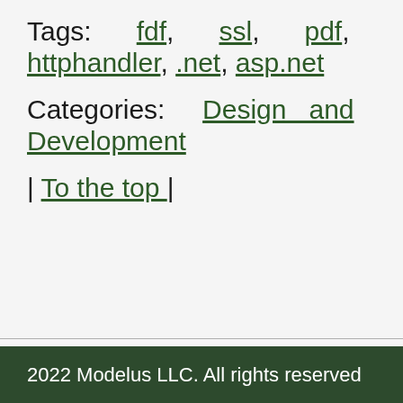Tags: fdf, ssl, pdf, httphandler, .net, asp.net
Categories: Design and Development
| To the top |
2022 Modelus LLC. All rights reserved